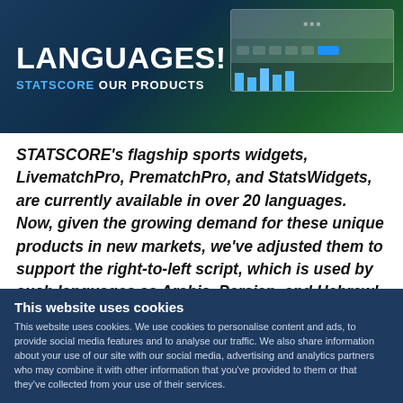[Figure (screenshot): Banner image showing the word LANGUAGES! with STATSCORE OUR PRODUCTS subtitle on a dark blue/green sports-themed background with a UI widget on the right]
STATSCORE's flagship sports widgets, LivematchPro, PrematchPro, and StatsWidgets, are currently available in over 20 languages. Now, given the growing demand for these unique products in new markets, we've adjusted them to support the right-to-left script, which is used by such languages as Arabic, Persian, and Hebrew!
This website uses cookies
This website uses cookies. We use cookies to personalise content and ads, to provide social media features and to analyse our traffic. We also share information about your use of our site with our social media, advertising and analytics partners who may combine it with other information that you've provided to them or that they've collected from your use of their services.